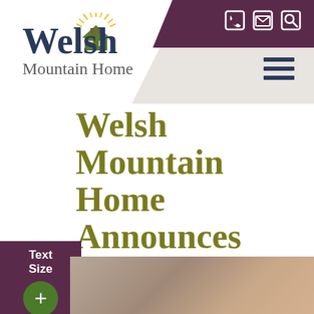[Figure (logo): Welsh Mountain Home logo with house icon and sunburst, text 'Welsh Mountain Home']
Welsh Mountain Home Announces Appointment of New Board Member
Text Size
[Figure (photo): Partial photograph showing hands or skin, cropped at bottom of page]